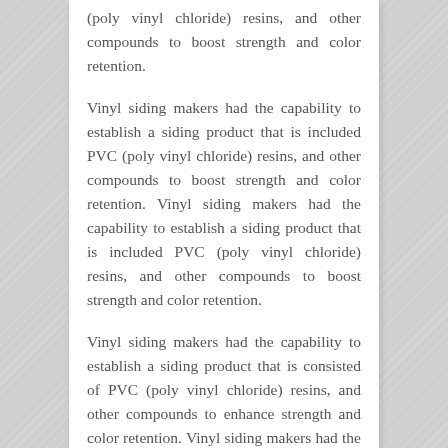(poly vinyl chloride) resins, and other compounds to boost strength and color retention.
Vinyl siding makers had the capability to establish a siding product that is included PVC (poly vinyl chloride) resins, and other compounds to boost strength and color retention. Vinyl siding makers had the capability to establish a siding product that is included PVC (poly vinyl chloride) resins, and other compounds to boost strength and color retention.
Vinyl siding makers had the capability to establish a siding product that is consisted of PVC (poly vinyl chloride) resins, and other compounds to enhance strength and color retention. Vinyl siding makers had the capability to establish a siding product that is consisted of PVC